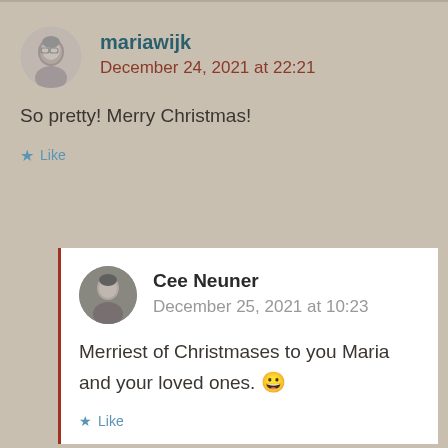[Figure (photo): Avatar photo of mariawijk - a woman with glasses, grayscale circular profile image]
mariawijk
December 24, 2021 at 22:21
So pretty! Merry Christmas!
Like
[Figure (photo): Avatar photo of Cee Neuner - appears to show a person or animal, grayscale circular profile image]
Cee Neuner
December 25, 2021 at 10:23
Merriest of Christmases to you Maria and your loved ones. 😀
Like